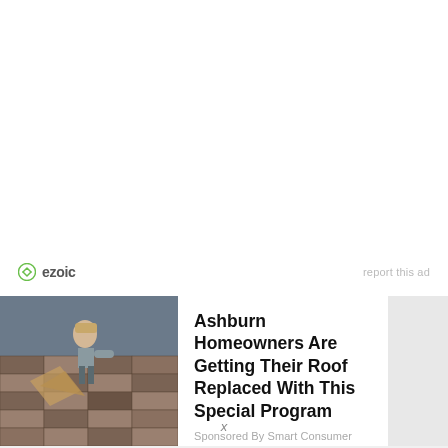[Figure (logo): Ezoic logo with circular icon and 'ezoic' text, plus 'report this ad' link on the right]
[Figure (photo): Advertisement card with a photo of damaged roof shingles and a person working on the roof, alongside headline text about roof replacement program]
Ashburn Homeowners Are Getting Their Roof Replaced With This Special Program
Sponsored By Smart Consumer